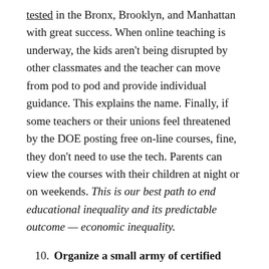tested in the Bronx, Brooklyn, and Manhattan with great success. When online teaching is underway, the kids aren't being disrupted by other classmates and the teacher can move from pod to pod and provide individual guidance. This explains the name. Finally, if some teachers or their unions feel threatened by the DOE posting free on-line courses, fine, they don't need to use the tech. Parents can view the courses with their children at night or on weekends. This is our best path to end educational inequality and its predictable outcome — economic inequality.
Organize a small army of certified volunteers to read and speak for an hour or more every day to infants age 0 to 3. This appears to be the single